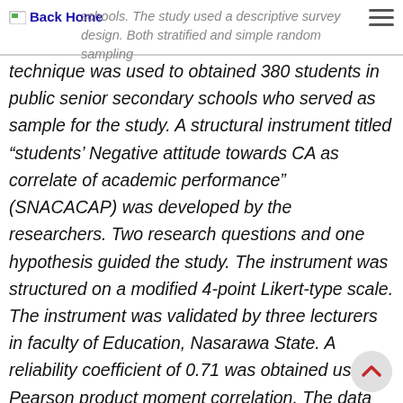Back Home — schools. The study used a descriptive survey design. Both stratified and simple random sampling
technique was used to obtained 380 students in public senior secondary schools who served as sample for the study. A structural instrument titled “students’ Negative attitude towards CA as correlate of academic performance” (SNACACAP) was developed by the researchers. Two research questions and one hypothesis guided the study. The instrument was structured on a modified 4-point Likert-type scale. The instrument was validated by three lecturers in faculty of Education, Nasarawa State. A reliability coefficient of 0.71 was obtained using Pearson product moment correlation. The data were analysed using frequency count, mean scores, standard deviation and Pearson correlation to answer research questions and